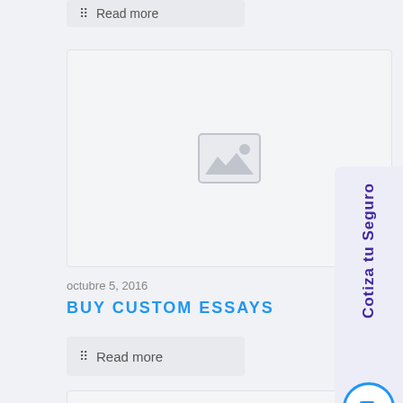Read more
[Figure (illustration): Image placeholder with mountain/landscape icon]
octubre 5, 2016
BUY CUSTOM ESSAYS
Read more
[Figure (illustration): Partially visible image placeholder at bottom]
[Figure (infographic): Side widget with vertical text 'Cotiza tu Seguro' and car icon circle]